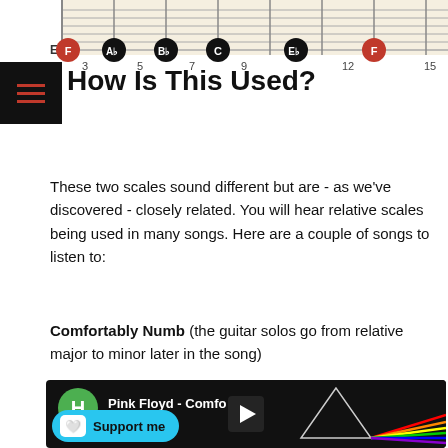[Figure (other): Guitar fretboard diagram showing F minor pentatonic scale with notes F, Ab, Bb, C, Eb, F marked at fret positions. E string shown with fret numbers 3, 5, 7, 9, 12, 15 below.]
How Is This Used?
These two scales sound different but are - as we've discovered - closely related. You will hear relative scales being used in many songs. Here are a couple of songs to listen to:
Comfortably Numb (the guitar solos go from relative major to minor later in the song)
[Figure (screenshot): YouTube video thumbnail for 'Pink Floyd - Comfortably numb' showing the Dark Side of the Moon prism album art, with a green H avatar, three-dot menu, Support me button overlay, and play button.]